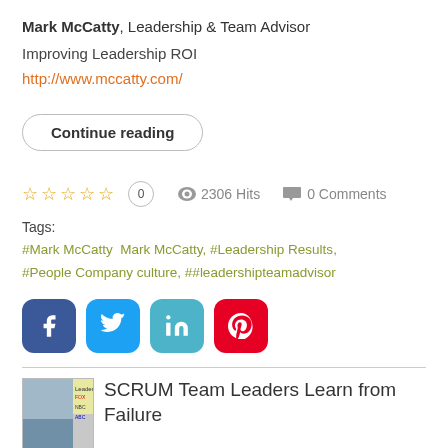Mark McCatty, Leadership & Team Advisor
Improving Leadership ROI
http://www.mccatty.com/
Continue reading
☆ ☆ ☆ ☆ ☆  0   2306 Hits   0 Comments
Tags:
#Mark McCatty  Mark McCatty, #Leadership Results, #People Company culture, ##leadershipteamadvisor
[Figure (infographic): Social share buttons: Facebook (blue), Twitter (blue), LinkedIn (teal), Pinterest (red)]
[Figure (photo): Small thumbnail image for SCRUM article with TV network logos]
SCRUM Team Leaders Learn from Failure